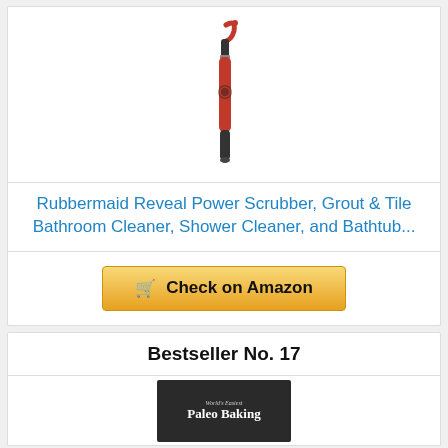[Figure (photo): A red and black Rubbermaid Reveal Power Scrubber product photo on white background]
Rubbermaid Reveal Power Scrubber, Grout & Tile Bathroom Cleaner, Shower Cleaner, and Bathtub...
Check on Amazon
Bestseller No. 17
[Figure (photo): Book cover for World's Easiest Paleo Baking]